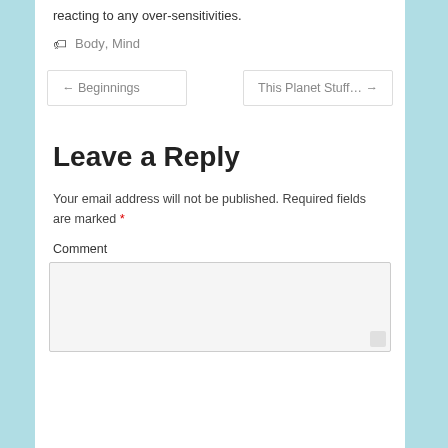reacting to any over-sensitivities.
Body, Mind
← Beginnings
This Planet Stuff… →
Leave a Reply
Your email address will not be published. Required fields are marked *
Comment